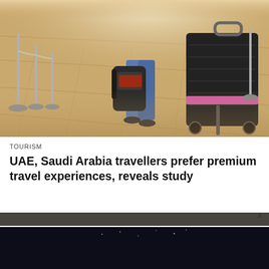[Figure (photo): Airport scene with travelers walking, pulling luggage including a large black suitcase with a pink strap, on a tiled floor with rope barriers and stanchions in the background, warm sunlit atmosphere.]
TOURISM
UAE, Saudi Arabia travellers prefer premium travel experiences, reveals study
[Figure (screenshot): Advertisement banner for GB Tech Web3 Awards 2022. Text reads NOMINATIONS OPEN, Nominations Close on September 2nd, with a CLICK HERE button. Dark background with cyan accents.]